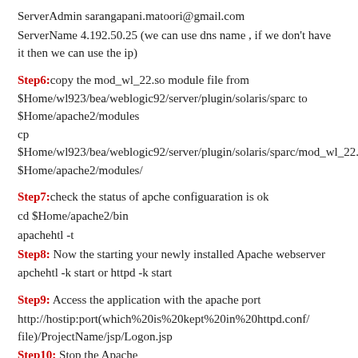ServerAdmin sarangapani.matoori@gmail.com
ServerName 4.192.50.25 (we can use dns name , if we don't have it then we can use the ip)
Step6:copy the mod_wl_22.so module file from $Home/wl923/bea/weblogic92/server/plugin/solaris/sparc to $Home/apache2/modules
cp $Home/wl923/bea/weblogic92/server/plugin/solaris/sparc/mod_wl_22.so $Home/apache2/modules/
Step7:check the status of apche configuaration is ok
cd $Home/apache2/bin
apachehtl -t
Step8: Now the starting your newly installed Apache webserver
apchehtl -k start or httpd -k start
Step9: Access the application with the apache port
http://hostip:port(which%20is%20kept%20in%20httpd.conf/file)/ProjectName/jsp/Logon.jsp
Step10: Stop the Apache
apchehtl -k stop or httpd -k stop